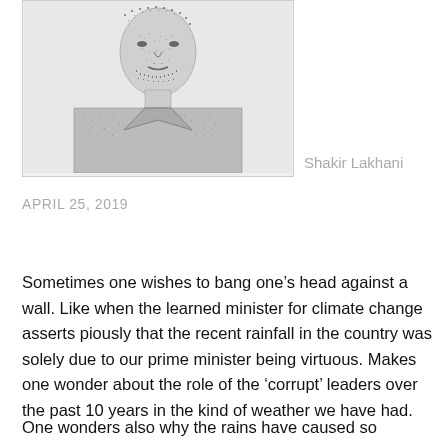[Figure (illustration): Black and white sketch/illustration of a man wearing a collared shirt, shown from chest up, with stippled/hatched drawing style]
Shakir Lakhani
APRIL 25, 2019
Sometimes one wishes to bang one’s head against a wall. Like when the learned minister for climate change asserts piously that the recent rainfall in the country was solely due to our prime minister being virtuous. Makes one wonder about the role of the ‘corrupt’ leaders over the past 10 years in the kind of weather we have had.
One wonders also why the rains have caused so